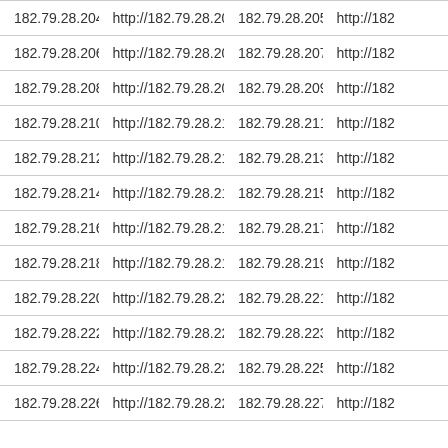| 182.79.28.204 | http://182.79.28.204 | 182.79.28.205 | http://182 |
| 182.79.28.206 | http://182.79.28.206 | 182.79.28.207 | http://182 |
| 182.79.28.208 | http://182.79.28.208 | 182.79.28.209 | http://182 |
| 182.79.28.210 | http://182.79.28.210 | 182.79.28.211 | http://182 |
| 182.79.28.212 | http://182.79.28.212 | 182.79.28.213 | http://182 |
| 182.79.28.214 | http://182.79.28.214 | 182.79.28.215 | http://182 |
| 182.79.28.216 | http://182.79.28.216 | 182.79.28.217 | http://182 |
| 182.79.28.218 | http://182.79.28.218 | 182.79.28.219 | http://182 |
| 182.79.28.220 | http://182.79.28.220 | 182.79.28.221 | http://182 |
| 182.79.28.222 | http://182.79.28.222 | 182.79.28.223 | http://182 |
| 182.79.28.224 | http://182.79.28.224 | 182.79.28.225 | http://182 |
| 182.79.28.226 | http://182.79.28.226 | 182.79.28.227 | http://182 |